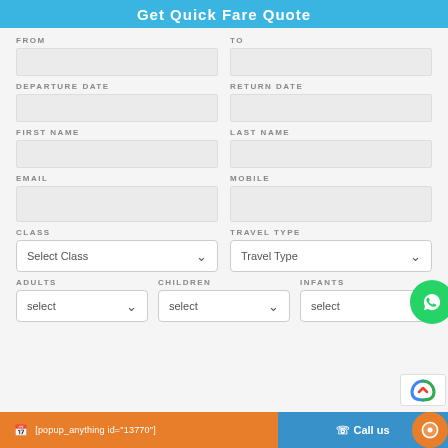Get Quick Fare Quote
FROM
TO
DEPARTURE DATE
RETURN DATE
FIRST NAME
LAST NAME
EMAIL
MOBILE
CLASS
TRAVEL TYPE
ADULTS
CHILDREN
INFANTS
[popup_anything id="13770"]   Call us